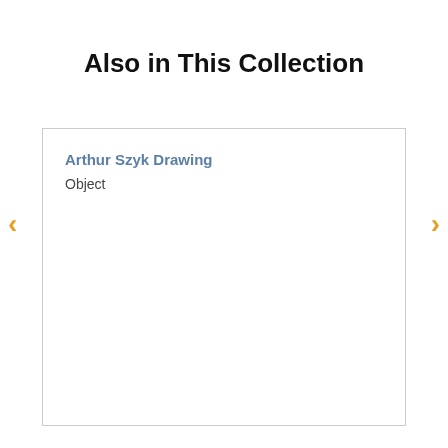Also in This Collection
Arthur Szyk Drawing
Object